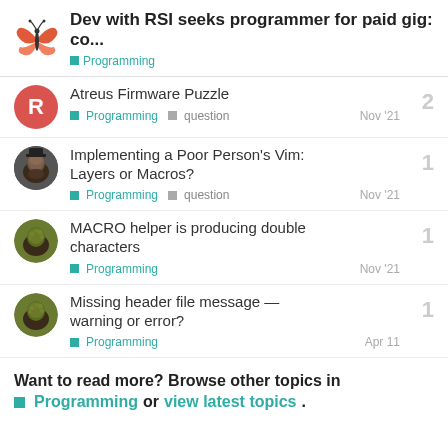Dev with RSI seeks programmer for paid gig: co… Programming
Atreus Firmware Puzzle
Programming  question  Nov '21  2
Implementing a Poor Person's Vim: Layers or Macros?
Programming  question  Nov '21  1
MACRO helper is producing double characters
Programming  Nov '21  1
Missing header file message — warning or error?
Programming  Apr 11  1
Want to read more? Browse other topics in Programming or view latest topics.